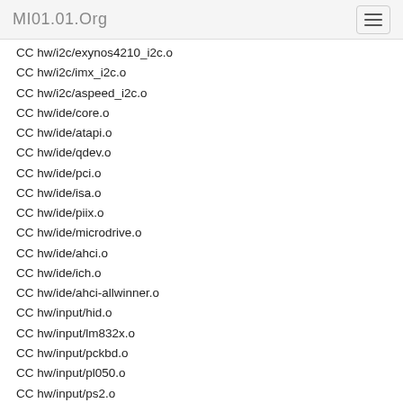MI01.01.Org
CC hw/i2c/exynos4210_i2c.o
CC hw/i2c/imx_i2c.o
CC hw/i2c/aspeed_i2c.o
CC hw/ide/core.o
CC hw/ide/atapi.o
CC hw/ide/qdev.o
CC hw/ide/pci.o
CC hw/ide/isa.o
CC hw/ide/piix.o
CC hw/ide/microdrive.o
CC hw/ide/ahci.o
CC hw/ide/ich.o
CC hw/ide/ahci-allwinner.o
CC hw/input/hid.o
CC hw/input/lm832x.o
CC hw/input/pckbd.o
CC hw/input/pl050.o
CC hw/input/ps2.o
CC hw/input/stellaris_input.o